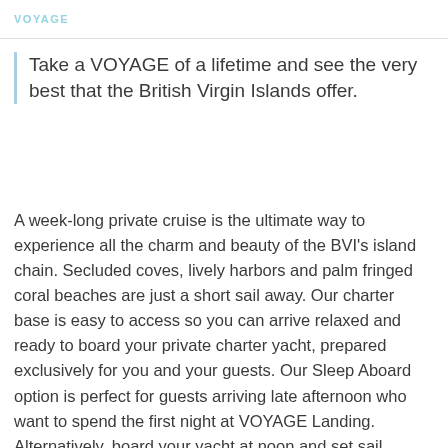VOYAGE
Take a VOYAGE of a lifetime and see the very best that the British Virgin Islands offer.
A week-long private cruise is the ultimate way to experience all the charm and beauty of the BVI's island chain. Secluded coves, lively harbors and palm fringed coral beaches are just a short sail away. Our charter base is easy to access so you can arrive relaxed and ready to board your private charter yacht, prepared exclusively for you and your guests. Our Sleep Aboard option is perfect for guests arriving late afternoon who want to spend the first night at VOYAGE Landing. Alternatively, board your yacht at noon and set sail